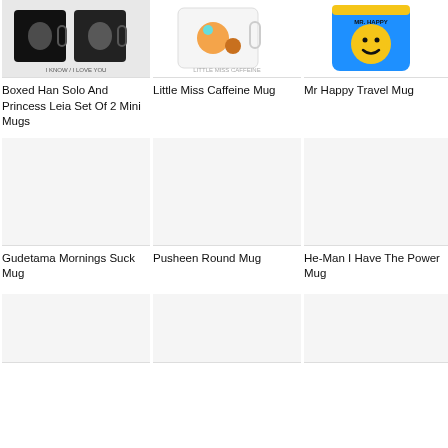[Figure (photo): Boxed Han Solo And Princess Leia Set Of 2 Mini Mugs product image - two black mugs with character prints]
Boxed Han Solo And Princess Leia Set Of 2 Mini Mugs
[Figure (photo): Little Miss Caffeine Mug product image - white mug with cartoon character]
Little Miss Caffeine Mug
[Figure (photo): Mr Happy Travel Mug product image - blue travel mug with yellow Mr Happy face]
Mr Happy Travel Mug
[Figure (photo): Gudetama Mornings Suck Mug product image - blank/loading]
Gudetama Mornings Suck Mug
[Figure (photo): Pusheen Round Mug product image - blank/loading]
Pusheen Round Mug
[Figure (photo): He-Man I Have The Power Mug product image - blank/loading]
He-Man I Have The Power Mug
[Figure (photo): Bottom row product 1 - blank/loading]
[Figure (photo): Bottom row product 2 - blank/loading]
[Figure (photo): Bottom row product 3 - blank/loading]